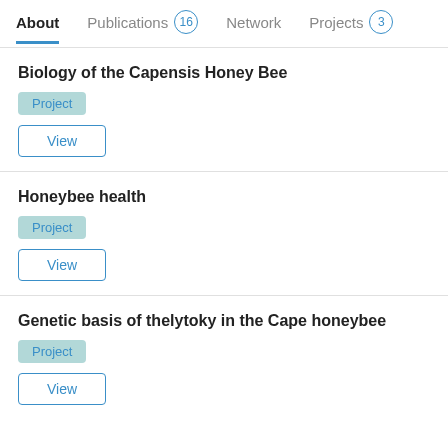About   Publications 16   Network   Projects 3
Biology of the Capensis Honey Bee
Project
View
Honeybee health
Project
View
Genetic basis of thelytoky in the Cape honeybee
Project
View